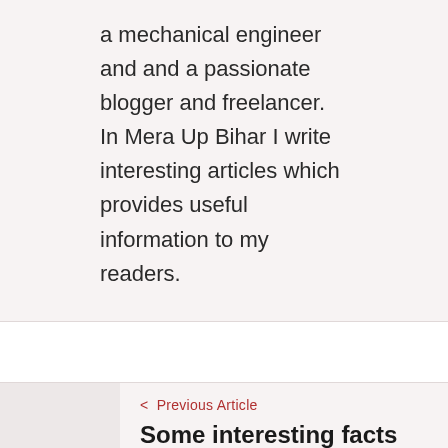a mechanical engineer and and a passionate blogger and freelancer. In Mera Up Bihar I write interesting articles which provides useful information to my readers.
< Previous Article
Some interesting facts about Pearl V Puri
1 Comment